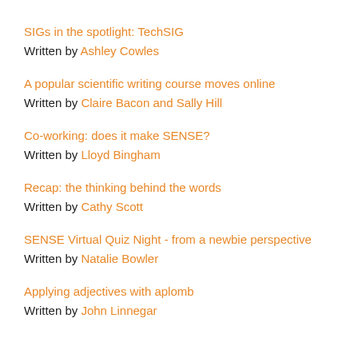SIGs in the spotlight: TechSIG
Written by Ashley Cowles
A popular scientific writing course moves online
Written by Claire Bacon and Sally Hill
Co-working: does it make SENSE?
Written by Lloyd Bingham
Recap: the thinking behind the words
Written by Cathy Scott
SENSE Virtual Quiz Night - from a newbie perspective
Written by Natalie Bowler
Applying adjectives with aplomb
Written by John Linnegar